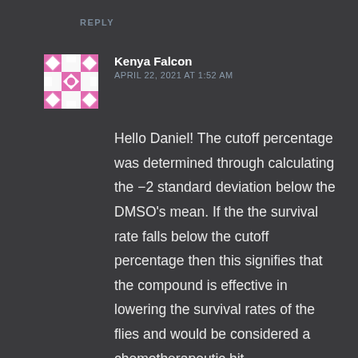REPLY
Kenya Falcon
APRIL 22, 2021 AT 1:52 AM
Hello Daniel! The cutoff percentage was determined through calculating the −2 standard deviation below the DMSO's mean. If the the survival rate falls below the cutoff percentage then this signifies that the compound is effective in lowering the survival rates of the flies and would be considered a chemotherapeutic hit.